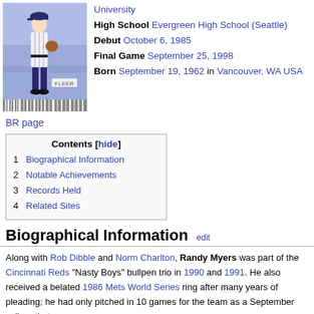[Figure (photo): Baseball player card photo (Fleer) showing a pitcher in a white pinstripe uniform against a purple/blue stadium background. The card has a barcode strip at the bottom and a FLEER label.]
High School Evergreen High School (Seattle)
Debut October 6, 1985
Final Game September 25, 1998
Born September 19, 1962 in Vancouver, WA USA
BR page
| 1 | Biographical Information |
| 2 | Notable Achievements |
| 3 | Records Held |
| 4 | Related Sites |
Biographical Information
Along with Rob Dibble and Norm Charlton, Randy Myers was part of the Cincinnati Reds "Nasty Boys" bullpen trio in 1990 and 1991. He also received a belated 1986 Mets World Series ring after many years of pleading; he had only pitched in 10 games for the team as a September call-up that season.
His 45 saves for the Baltimore Orioles in 1997 were the team record